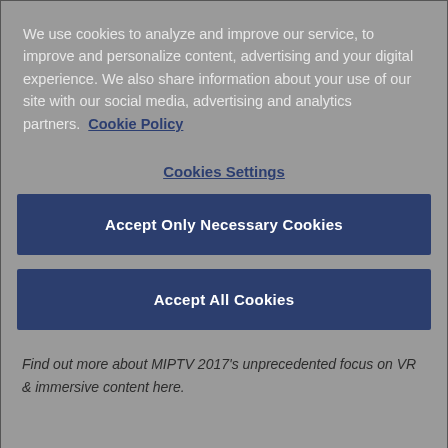We use cookies to analyze and improve our service, to improve and personalize content, advertising and your digital experience. We also share information about your use of our site with our social media, advertising and analytics partners.  Cookie Policy
Cookies Settings
Accept Only Necessary Cookies
Accept All Cookies
Find out more about MIPTV 2017's unprecedented focus on VR & immersive content here.